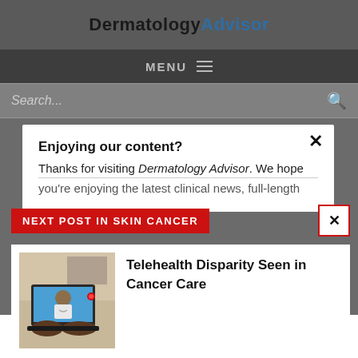DermatologyAdvisor
MENU ☰
Search...
Enjoying our content?
Thanks for visiting Dermatology Advisor. We hope you're enjoying the latest clinical news, full-length
NEXT POST IN SKIN CANCER
Telehealth Disparity Seen in Cancer Care
[Figure (photo): Person using a laptop for a telehealth video call with a doctor]
LOGIN   REGISTER